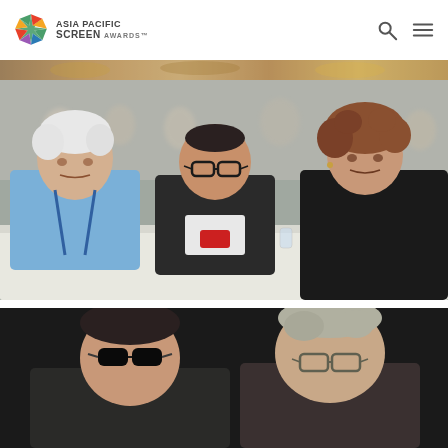ASIA PACIFIC SCREEN AWARDS
[Figure (photo): Partial view of a colorful event photo strip at top of page, showing a crowded indoor venue with decorations]
[Figure (photo): Three people sitting at a dining table in conversation at what appears to be an awards ceremony luncheon. On the left is an elderly man with white hair in a light blue shirt. In the center is a middle-aged man with glasses and dark jacket looking at a phone. On the right is a woman with curly hair in a dark top. Table has cups, glasses, plates, and a black table number marker showing '1'.]
[Figure (photo): Two people at the bottom of the page against a dark background, partial view showing a person with sunglasses on the left and a man with glasses on the right]